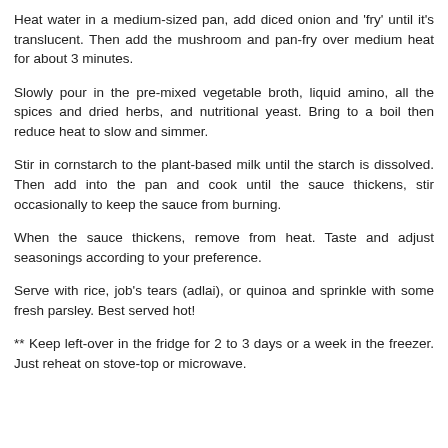Heat water in a medium-sized pan, add diced onion and 'fry' until it's translucent. Then add the mushroom and pan-fry over medium heat for about 3 minutes.
Slowly pour in the pre-mixed vegetable broth, liquid amino, all the spices and dried herbs, and nutritional yeast. Bring to a boil then reduce heat to slow and simmer.
Stir in cornstarch to the plant-based milk until the starch is dissolved. Then add into the pan and cook until the sauce thickens, stir occasionally to keep the sauce from burning.
When the sauce thickens, remove from heat. Taste and adjust seasonings according to your preference.
Serve with rice, job's tears (adlai), or quinoa and sprinkle with some fresh parsley. Best served hot!
** Keep left-over in the fridge for 2 to 3 days or a week in the freezer. Just reheat on stove-top or microwave.